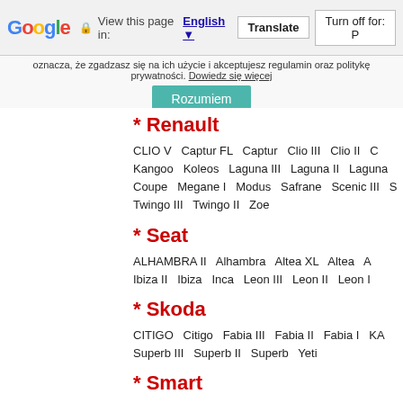Google  View this page in: English [▼]  Translate  Turn off for: P
oznacza, że zgadzasz się na ich użycie i akceptujesz regulamin oraz politykę prywatności. Dowiedz się więcej
Rozumiem
* Renault
CLIO V  Captur FL  Captur  Clio III  Clio II  C Kangoo  Koleos  Laguna III  Laguna II  Laguna Coupe  Megane I  Modus  Safrane  Scenic III  S Twingo III  Twingo II  Zoe
* Seat
ALHAMBRA II  Alhambra  Altea XL  Altea  A Ibiza II  Ibiza  Inca  Leon III  Leon II  Leon I
* Skoda
CITIGO  Citigo  Fabia III  Fabia II  Fabia I  KA Superb III  Superb II  Superb  Yeti
* Smart